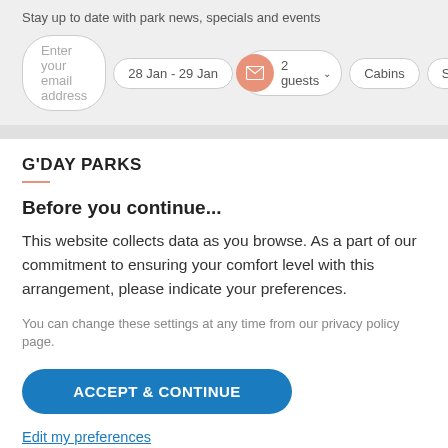Stay up to date with park news, specials and events
Enter your email address  28 Jan - 29 Jan  2 guests  Cabins  Sites
G'DAY PARKS
Before you continue...
This website collects data as you browse. As a part of our commitment to ensuring your comfort level with this arrangement, please indicate your preferences.
You can change these settings at any time from our privacy policy page.
ACCEPT & CONTINUE
Edit my preferences